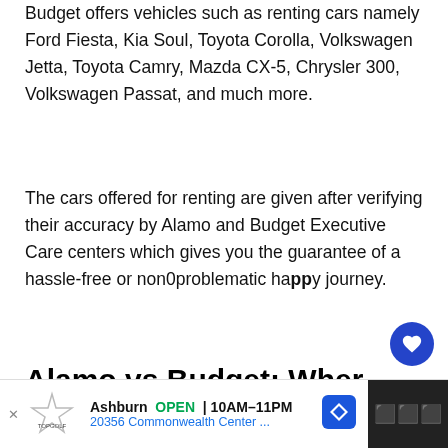Budget offers vehicles such as renting cars namely Ford Fiesta, Kia Soul, Toyota Corolla, Volkswagen Jetta, Toyota Camry, Mazda CX-5, Chrysler 300, Volkswagen Passat, and much more.
The cars offered for renting are given after verifying their accuracy by Alamo and Budget Executive Care centers which gives you the guarantee of a hassle-free or non0problematic happy journey.
Alamo vs Budget: Wher...
[Figure (infographic): Advertisement banner for TopGolf Ashburn showing OPEN 10AM-11PM, 20356 Commonwealth Center, with navigation arrow icon and dark panel on right]